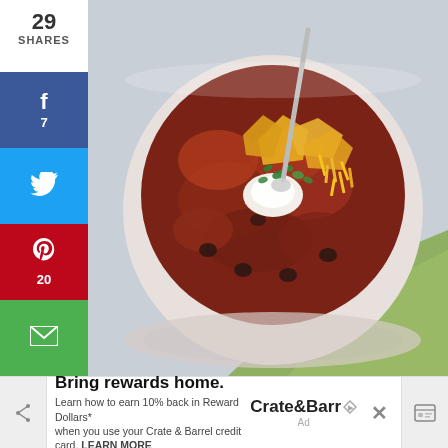[Figure (photo): A white bowl filled with chili topped with sour cream, shredded cheddar cheese, corn chips (Fritos), and fresh cilantro, with a spoon in it. A green cloth napkin is visible in the background. The photo occupies most of the page.]
29
SHARES
f
7
Twitter icon
Pinterest icon
20
Email icon
Print icon
Yum
2
Tumblr icon
Flipboard icon
31
Bring rewards home.
Learn how to earn 10% back in Reward Dollars* when you use your Crate & Barrel credit card. LEARN MORE
Crate&Barrel